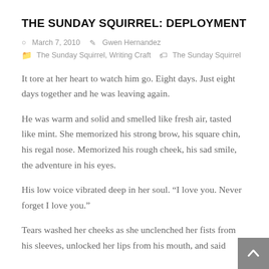THE SUNDAY SQUIRREL: DEPLOYMENT
March 7, 2010   Gwen Hernandez
The Sunday Squirrel, Writing Craft   The Sunday Squirrel
It tore at her heart to watch him go. Eight days. Just eight days together and he was leaving again.
He was warm and solid and smelled like fresh air, tasted like mint. She memorized his strong brow, his square chin, his regal nose. Memorized his rough cheek, his sad smile, the adventure in his eyes.
His low voice vibrated deep in her soul. “I love you. Never forget I love you.”
Tears washed her cheeks as she unclenched her fists from his sleeves, unlocked her lips from his mouth, and said